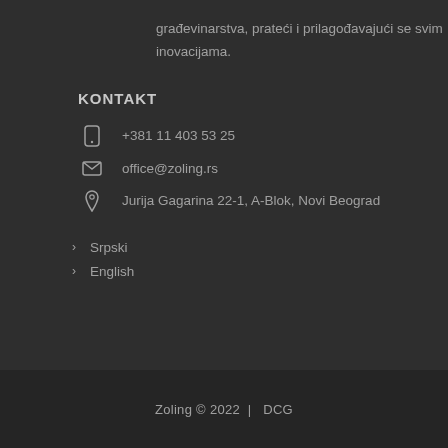građevinarstva, prateći i prilagođavajući se svim inovacijama.
KONTAKT
+381 11 403 53 25
office@zoling.rs
Jurija Gagarina 22-1, A-Blok, Novi Beograd
Srpski
English
Zoling © 2022 |  DCG